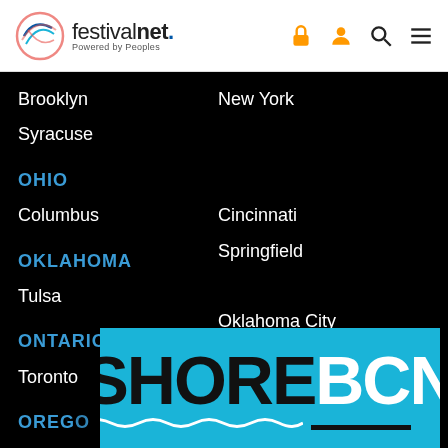festivalnet. Powered by Peoples
Brooklyn
New York
Syracuse
OHIO
Cincinnati
Columbus
Springfield
OKLAHOMA
Oklahoma City
Tulsa
ONTARIO
Ottawa
Toronto
OREGON
Portland
[Figure (logo): SHORE BCN advertisement banner on cyan/teal background with wave decoration]